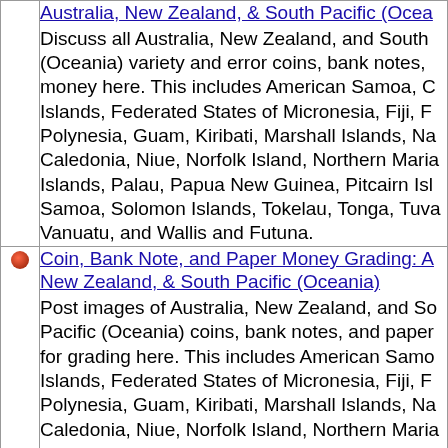Australia, New Zealand, & South Pacific (Oceania) Discuss all Australia, New Zealand, and South (Oceania) variety and error coins, bank notes, money here. This includes American Samoa, C Islands, Federated States of Micronesia, Fiji, F Polynesia, Guam, Kiribati, Marshall Islands, Na Caledonia, Niue, Norfolk Island, Northern Maria Islands, Palau, Papua New Guinea, Pitcairn Isl Samoa, Solomon Islands, Tokelau, Tonga, Tuva Vanuatu, and Wallis and Futuna.
Coin, Bank Note, and Paper Money Grading: A New Zealand, & South Pacific (Oceania) Post images of Australia, New Zealand, and So Pacific (Oceania) coins, bank notes, and paper for grading here. This includes American Samo Islands, Federated States of Micronesia, Fiji, F Polynesia, Guam, Kiribati, Marshall Islands, Na Caledonia, Niue, Norfolk Island, Northern Maria